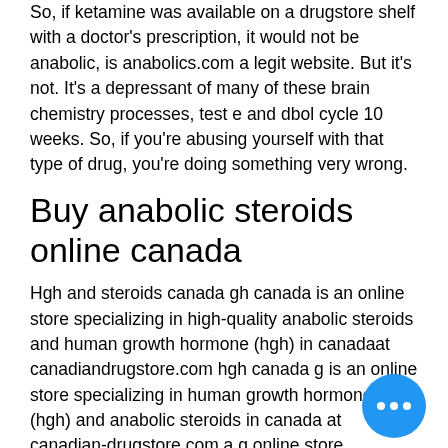So, if ketamine was available on a drugstore shelf with a doctor's prescription, it would not be anabolic, is anabolics.com a legit website. But it's not. It's a depressant of many of these brain chemistry processes, test e and dbol cycle 10 weeks. So, if you're abusing yourself with that type of drug, you're doing something very wrong.
Buy anabolic steroids online canada
Hgh and steroids canada gh canada is an online store specializing in high-quality anabolic steroids and human growth hormone (hgh) in canadaat canadiandrugstore.com hgh canada g is an online store specializing in human growth hormone (hgh) and anabolic steroids in canada at canadian-drugstore.com a g online store specializing in g and anabolic steroids in canada at canadian-g-store.com